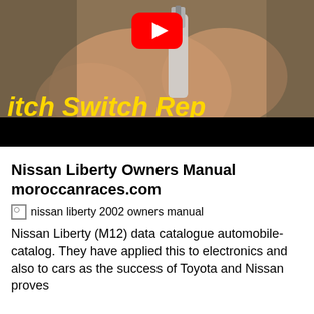[Figure (screenshot): YouTube video thumbnail showing hands holding a small component, with yellow bold italic text 'itch Switch Rep' overlaid at bottom, YouTube play button at top center, and black bar at very bottom. Partial video thumbnail for a switch replacement tutorial.]
Nissan Liberty Owners Manual moroccanraces.com
[Figure (photo): Broken image placeholder with alt text: nissan liberty 2002 owners manual]
Nissan Liberty (M12) data catalogue automobile-catalog. They have applied this to electronics and also to cars as the success of Toyota and Nissan proves